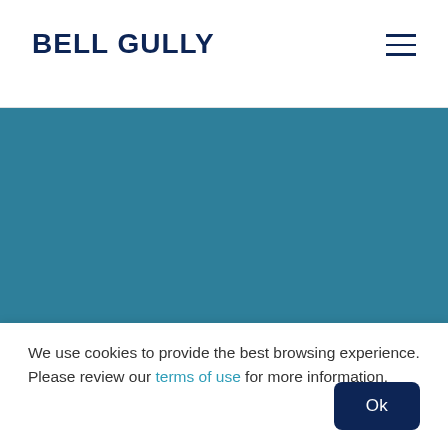BELL GULLY
[Figure (other): Teal/blue-gray solid color hero banner image area]
We use cookies to provide the best browsing experience. Please review our terms of use for more information.